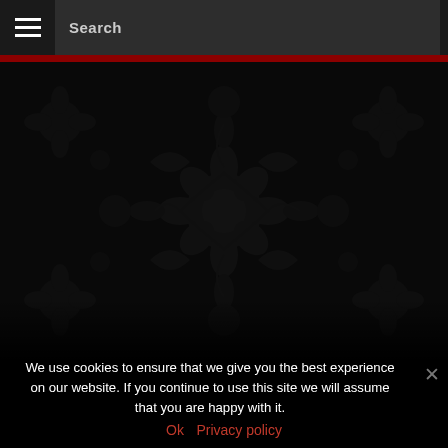Search
[Figure (illustration): Dark floral damask pattern background with roses and leaves on black background]
We use cookies to ensure that we give you the best experience on our website. If you continue to use this site we will assume that you are happy with it.
Ok   Privacy policy